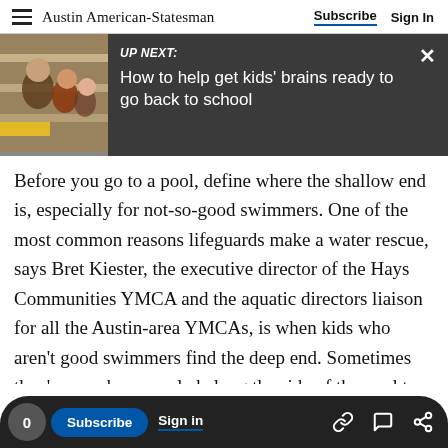Austin American-Statesman | Subscribe | Sign In
[Figure (screenshot): UP NEXT banner with thumbnail photo of people at a bookstore/store. Headline: 'How to help get kids' brains ready to go back to school']
Before you go to a pool, define where the shallow end is, especially for not-so-good swimmers. One of the most common reasons lifeguards make a water rescue, says Bret Kiester, the executive director of the Hays Communities YMCA and the aquatic directors liaison for all the Austin-area YMCAs, is when kids who aren't good swimmers find the deep end. Sometimes they've monkey-crawled along the side of the pool to that end; other times they're following an older sibling or
0 | Subscribe | Sign in